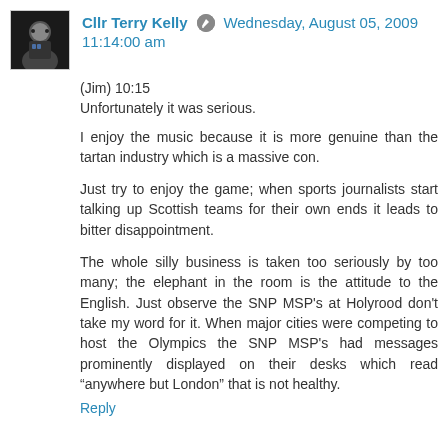Cllr Terry Kelly · Wednesday, August 05, 2009 11:14:00 am
(Jim) 10:15
Unfortunately it was serious.
I enjoy the music because it is more genuine than the tartan industry which is a massive con.
Just try to enjoy the game; when sports journalists start talking up Scottish teams for their own ends it leads to bitter disappointment.
The whole silly business is taken too seriously by too many; the elephant in the room is the attitude to the English. Just observe the SNP MSP’s at Holyrood don’t take my word for it. When major cities were competing to host the Olympics the SNP MSP’s had messages prominently displayed on their desks which read “anywhere but London” that is not healthy.
Reply